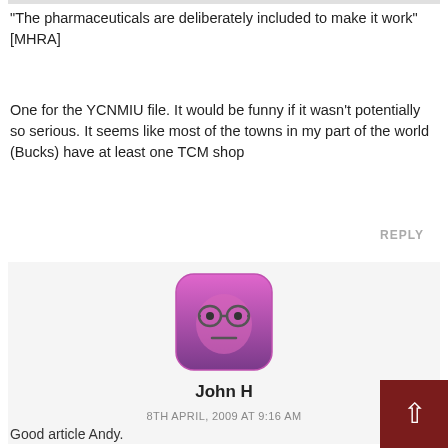“The pharmaceuticals are deliberately included to make it work” [MHRA]
One for the YCNMIU file. It would be funny if it wasn’t potentially so serious. It seems like most of the towns in my part of the world (Bucks) have at least one TCM shop
REPLY
[Figure (illustration): Purple cartoon avatar with glasses and neutral expression on a pink/purple rounded square background]
John H
8TH APRIL, 2009 AT 9:16 AM
Good article Andy.